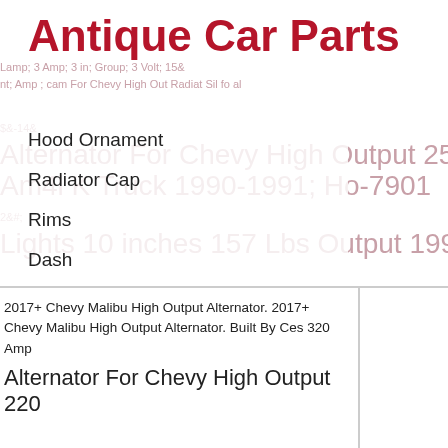Antique Car Parts
Hood Ornament
Radiator Cap
Rims
Dash
Seats
Lights
2017+ Chevy Malibu High Output Alternator. 2017+ Chevy Malibu High Output Alternator. Built By Ces 320 Amp
Alternator For Chevy High Output 220